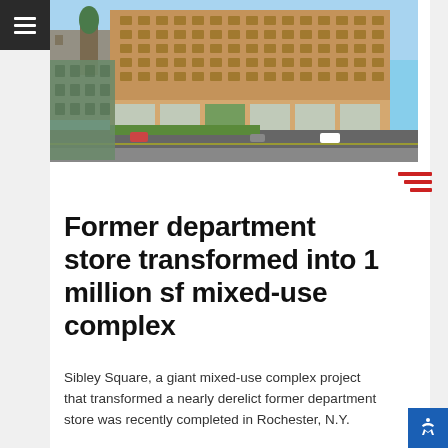[Figure (photo): Aerial view of Sibley Square, a large multi-story brick mixed-use building in Rochester, N.Y., seen from above at a street corner with surrounding streets and green spaces.]
Former department store transformed into 1 million sf mixed-use complex
Sibley Square, a giant mixed-use complex project that transformed a nearly derelict former department store was recently completed in Rochester, N.Y.